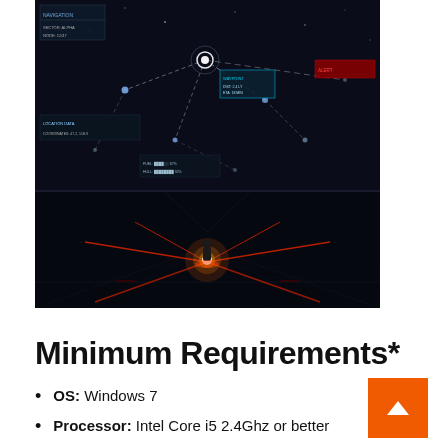[Figure (screenshot): Two game screenshots stacked vertically: top shows a dark space/starmap UI with node connections and glowing points; bottom shows a dark sci-fi combat scene with a glowing figure surrounded by red laser beams on a geometric floor.]
Minimum Requirements*
OS: Windows 7
Processor: Intel Core i5 2.4Ghz or better
Memory: 3 GB RAM
Graphics: Geforce GTX 960 / Radeon HD 7750 or better 1GB video card memory